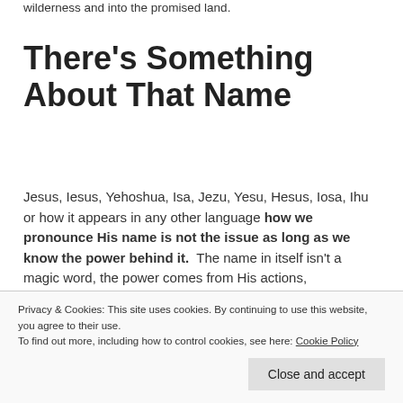wilderness and into the promised land.
There's Something About That Name
Jesus, Iesus, Yehoshua, Isa, Jezu, Yesu, Hesus, Iosa, Ihu or how it appears in any other language how we pronounce His name is not the issue as long as we know the power behind it. The name in itself isn't a magic word, the power comes from His actions,
Privacy & Cookies: This site uses cookies. By continuing to use this website, you agree to their use.
To find out more, including how to control cookies, see here: Cookie Policy
Close and accept